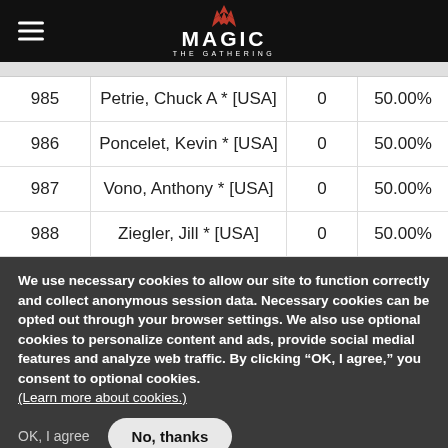Magic: The Gathering
| Rank | Name | Points | OMW% |
| --- | --- | --- | --- |
| 985 | Petrie, Chuck A * [USA] | 0 | 50.00% |
| 986 | Poncelet, Kevin * [USA] | 0 | 50.00% |
| 987 | Vono, Anthony * [USA] | 0 | 50.00% |
| 988 | Ziegler, Jill * [USA] | 0 | 50.00% |
We use necessary cookies to allow our site to function correctly and collect anonymous session data. Necessary cookies can be opted out through your browser settings. We also use optional cookies to personalize content and ads, provide social medial features and analyze web traffic. By clicking “OK, I agree,” you consent to optional cookies. (Learn more about cookies.)
OK, I agree   No, thanks